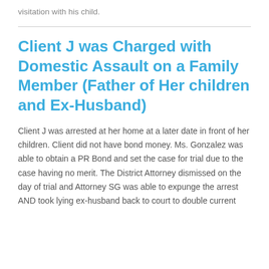visitation with his child.
Client J was Charged with Domestic Assault on a Family Member (Father of Her children and Ex-Husband)
Client J was arrested at her home at a later date in front of her children. Client did not have bond money. Ms. Gonzalez was able to obtain a PR Bond and set the case for trial due to the case having no merit. The District Attorney dismissed on the day of trial and Attorney SG was able to expunge the arrest AND took lying ex-husband back to court to double current